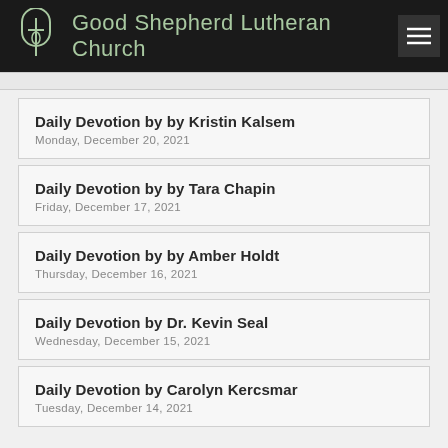Good Shepherd Lutheran Church
Daily Devotion by by Kristin Kalsem
Monday, December 20, 2021
Daily Devotion by by Tara Chapin
Friday, December 17, 2021
Daily Devotion by by Amber Holdt
Thursday, December 16, 2021
Daily Devotion by Dr. Kevin Seal
Wednesday, December 15, 2021
Daily Devotion by Carolyn Kercsmar
Tuesday, December 14, 2021